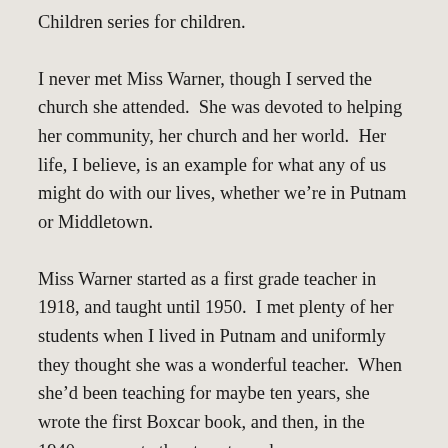Children series for children.
I never met Miss Warner, though I served the church she attended.  She was devoted to helping her community, her church and her world.  Her life, I believe, is an example for what any of us might do with our lives, whether we're in Putnam or Middletown.
Miss Warner started as a first grade teacher in 1918, and taught until 1950.  I met plenty of her students when I lived in Putnam and uniformly they thought she was a wonderful teacher.  When she'd been teaching for maybe ten years, she wrote the first Boxcar book, and then, in the 1940s, re-wrote the story to make